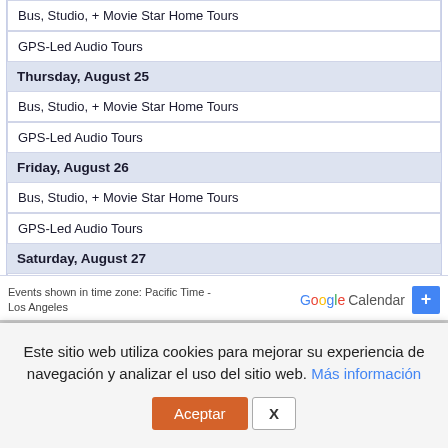Bus, Studio, + Movie Star Home Tours
GPS-Led Audio Tours
Thursday, August 25
Bus, Studio, + Movie Star Home Tours
GPS-Led Audio Tours
Friday, August 26
Bus, Studio, + Movie Star Home Tours
GPS-Led Audio Tours
Saturday, August 27
Bus, Studio, + Movie Star Home Tours
GPS-Led Audio Tours
9:30am   Downtown L.A. Tour 9:30am Saturday (ENGLISH)
Events shown in time zone: Pacific Time - Los Angeles
Este sitio web utiliza cookies para mejorar su experiencia de navegación y analizar el uso del sitio web. Más información
Aceptar  X